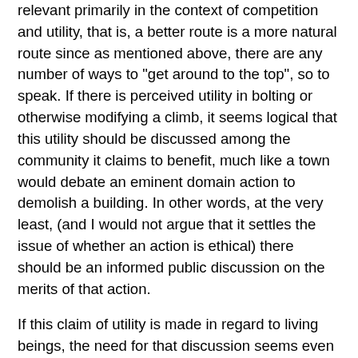relevant primarily in the context of competition and utility, that is, a better route is a more natural route since as mentioned above, there are any number of ways to "get around to the top", so to speak. If there is perceived utility in bolting or otherwise modifying a climb, it seems logical that this utility should be discussed among the community it claims to benefit, much like a town would debate an eminent domain action to demolish a building. In other words, at the very least, (and I would not argue that it settles the issue of whether an action is ethical) there should be an informed public discussion on the merits of that action.
If this claim of utility is made in regard to living beings, the need for that discussion seems even more urgent than ever. Here the claims of relativism become even more shaky. Following the alteration principle, ending a life is not reversible and its external impacts are potentially considerable. For example, a number of individuals claimed that in the east of the US, trees are very common so cutting them there is not a big deal. California on the other hand is much more arid so the loss of a single tree at a cliff is more serious. But if we look at this from another perspective, say,